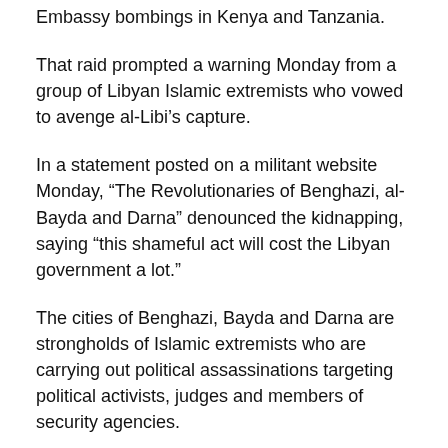Embassy bombings in Kenya and Tanzania.
That raid prompted a warning Monday from a group of Libyan Islamic extremists who vowed to avenge al-Libi’s capture.
In a statement posted on a militant website Monday, “The Revolutionaries of Benghazi, al-Bayda and Darna” denounced the kidnapping, saying “this shameful act will cost the Libyan government a lot.”
The cities of Benghazi, Bayda and Darna are strongholds of Islamic extremists who are carrying out political assassinations targeting political activists, judges and members of security agencies.
“We owe it to God to fight whoever betrayed his country and involved in this conspiracy,” the group said.
U.S. Defense Secretary Chuck Hagel said Sunday that al-Libi was in U.S. custody. A U.S. official familiar with the